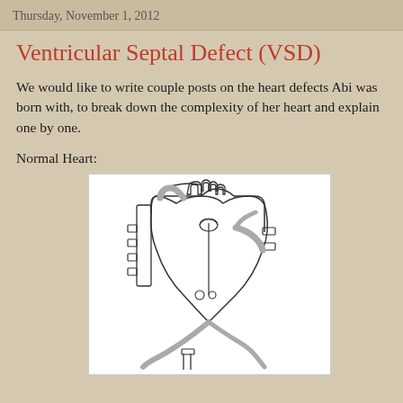Thursday, November 1, 2012
Ventricular Septal Defect (VSD)
We would like to write couple posts on the heart defects Abi was born with, to break down the complexity of her heart and explain one by one.
Normal Heart:
[Figure (illustration): Medical illustration of a normal human heart showing anatomical structures including the aorta, pulmonary vessels, ventricles, atria, and coronary arteries in outline style with gray shading on vessels.]